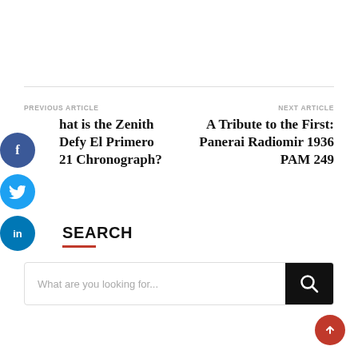PREVIOUS ARTICLE
What is the Zenith Defy El Primero 21 Chronograph?
NEXT ARTICLE
A Tribute to the First: Panerai Radiomir 1936 PAM 249
SEARCH
What are you looking for...